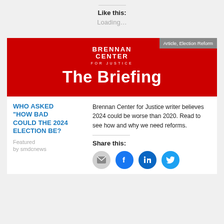Like this:
Loading...
[Figure (illustration): Brennan Center for Justice - The Briefing newsletter banner on red background]
WHO ASKED "HOW BAD COULD THE 2024 ELECTION BE?
Featured
by smdcnews
Brennan Center for Justice writer believes 2024 could be worse than 2020. Read to see how and why we need reforms.
Share this: